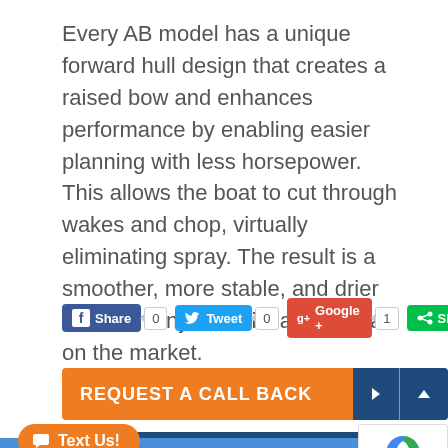Every AB model has a unique forward hull design that creates a raised bow and enhances performance by enabling easier planning with less horsepower. This allows the boat to cut through wakes and chop, virtually eliminating spray. The result is a smoother, more stable, and drier ride than any other inflatable boat on the market.
[Figure (screenshot): Social sharing buttons: Facebook Share (0), Twitter Tweet (0), Google+ (1), Share (3)]
[Figure (screenshot): Orange REQUEST A CALL BACK button with dark blue arrow and up-arrow boxes on the right]
[Figure (screenshot): Orange Text Us! button overlapping a dark blue GHIES bar, with a reCAPTCHA widget in the bottom right corner]